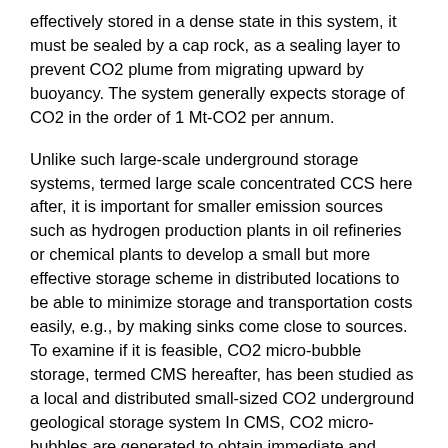effectively stored in a dense state in this system, it must be sealed by a cap rock, as a sealing layer to prevent CO2 plume from migrating upward by buoyancy. The system generally expects storage of CO2 in the order of 1 Mt-CO2 per annum.
Unlike such large-scale underground storage systems, termed large scale concentrated CCS here after, it is important for smaller emission sources such as hydrogen production plants in oil refineries or chemical plants to develop a small but more effective storage scheme in distributed locations to be able to minimize storage and transportation costs easily, e.g., by making sinks come close to sources. To examine if it is feasible, CO2 micro-bubble storage, termed CMS hereafter, has been studied as a local and distributed small-sized CO2 underground geological storage system In CMS, CO2 micro-bubbles are generated to obtain immediate and effective dissolution into water, and the CO2 dissolved water is injected underground.
As part of this ongoing study, the results of the following two subjects are presented in this paper: 1) examination of the mechanical conditions associated